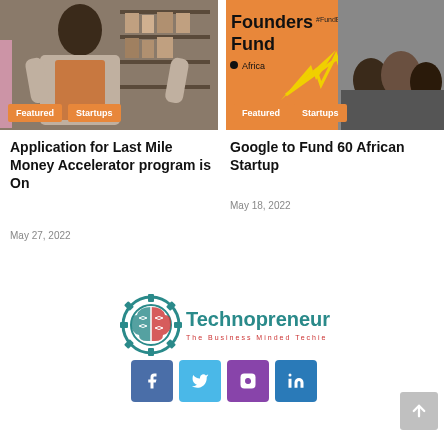[Figure (photo): Person in apron standing in a store, with Featured and Startups badges overlaid]
[Figure (photo): Orange background with 'Founders Fund Africa #FundBlackFounders' text and people in background, with Featured and Startups badges]
Application for Last Mile Money Accelerator program is On
May 27, 2022
Google to Fund 60 African Startup
May 18, 2022
[Figure (logo): Technopreneur logo with gear/brain icon in teal and red, text 'Technopreneur The Business Minded Techie']
[Figure (infographic): Social media icons row: Facebook, Twitter, Instagram, LinkedIn]